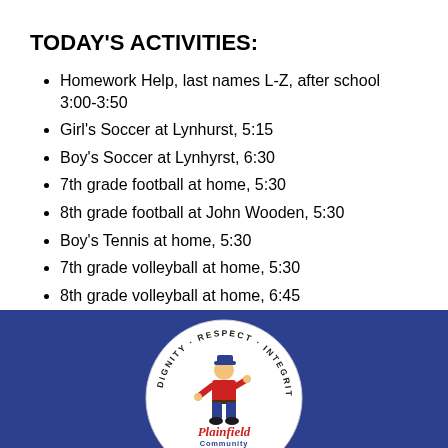TODAY'S ACTIVITIES:
Homework Help, last names L-Z, after school 3:00-3:50
Girl's Soccer at Lynhurst, 5:15
Boy's Soccer at Lynhyrst, 6:30
7th grade football at home, 5:30
8th grade football at John Wooden, 5:30
Boy's Tennis at home, 5:30
7th grade volleyball at home, 5:30
8th grade volleyball at home, 6:45
[Figure (logo): Plainfield Community school logo — circular badge with mascot (person in blue outfit running) and text 'Plainfield Community' in center, surrounded by ring text: DIGNITY · RESPECT · INTEGRITY · KINDNESS · HONESTY · RELIABI... on dark blue background]